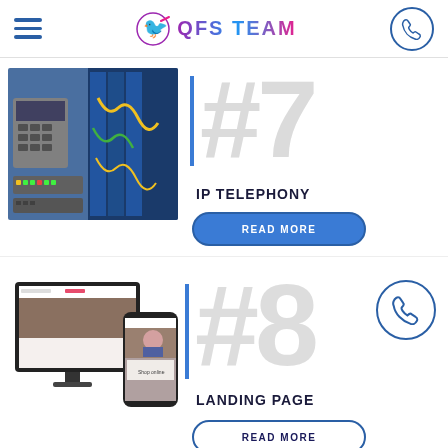QFS TEAM
[Figure (photo): Data center / network equipment photo showing switches and server cables]
#7
IP TELEPHONY
READ MORE
[Figure (photo): Desktop monitor and smartphone showing a website/landing page design]
#8
LANDING PAGE
READ MORE